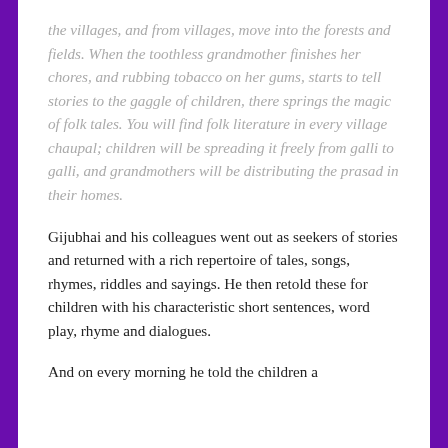the villages, and from villages, move into the forests and fields. When the toothless grandmother finishes her chores, and rubbing tobacco on her gums, starts to tell stories to the gaggle of children, there springs the magic of folk tales. You will find folk literature in every village chaupal; children will be spreading it freely from galli to galli, and grandmothers will be distributing the prasad in their homes.
Gijubhai and his colleagues went out as seekers of stories and returned with a rich repertoire of tales, songs, rhymes, riddles and sayings. He then retold these for children with his characteristic short sentences, word play, rhyme and dialogues.
And on every morning he told the children a